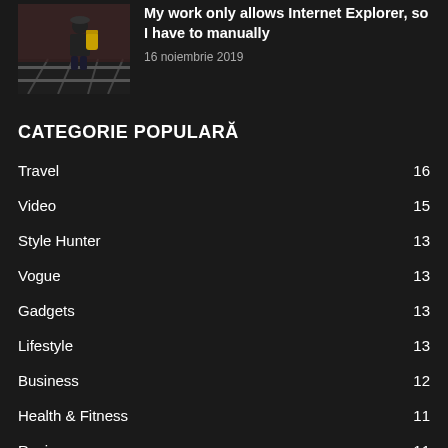[Figure (photo): Thumbnail photo of a person with a yellow backpack standing on a train platform]
My work only allows Internet Explorer, so I have to manually
16 noiembrie 2019
CATEGORIE POPULARĂ
Travel 16
Video 15
Style Hunter 13
Vogue 13
Gadgets 13
Lifestyle 13
Business 12
Health & Fitness 11
Recipes 11